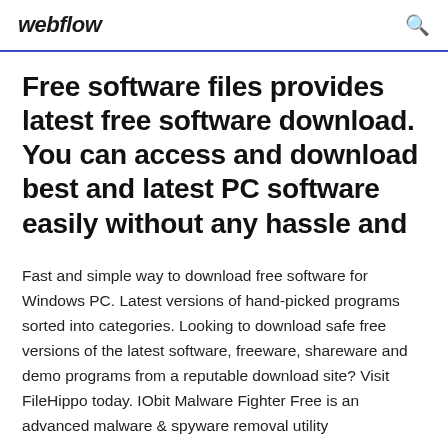webflow
Free software files provides latest free software download. You can access and download best and latest PC software easily without any hassle and
Fast and simple way to download free software for Windows PC. Latest versions of hand-picked programs sorted into categories. Looking to download safe free versions of the latest software, freeware, shareware and demo programs from a reputable download site? Visit FileHippo today. IObit Malware Fighter Free is an advanced malware & spyware removal utility